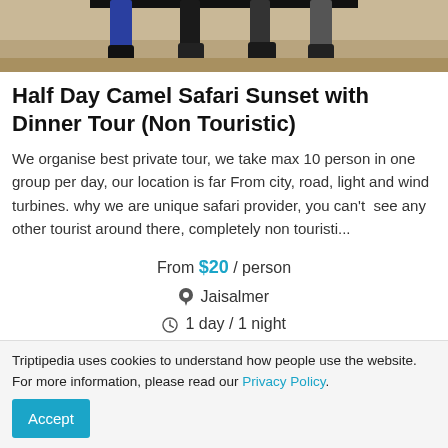[Figure (photo): Cropped photo showing feet and legs of people sitting on a blanket or mat in a sandy desert setting. Only the lower portions of people's bodies are visible.]
Half Day Camel Safari Sunset with Dinner Tour (Non Touristic)
We organise best private tour, we take max 10 person in one group per day, our location is far From city, road, light and wind turbines. why we are unique safari provider, you can't  see any other tourist around there, completely non touristi...
From $20 / person
📍 Jaisalmer
🕐 1 day / 1 night
More details »
Triptipedia uses cookies to understand how people use the website. For more information, please read our Privacy Policy.